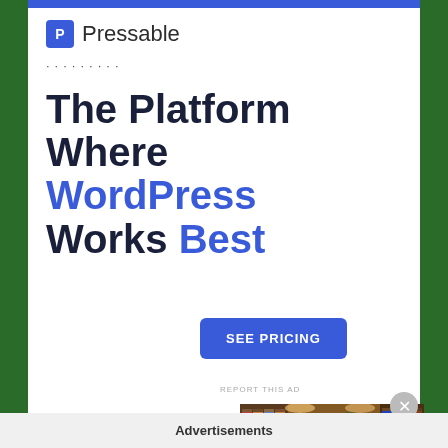[Figure (logo): Pressable logo with blue P icon and brand name]
·········
The Platform Where WordPress Works Best
SEE PRICING
REPORT THIS AD
II. Librairie Galignani
[Figure (photo): Interior of bookshop Librairie Galignani showing tall shelves filled with books]
This
Advertisements